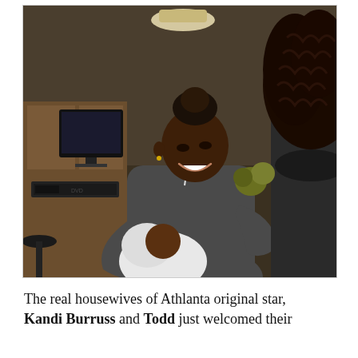[Figure (photo): A woman in a dark grey hoodie smiling and holding a newborn baby wrapped in white cloth. Another person with curly hair is visible on the right side of the frame. A desk with a computer monitor is visible in the background.]
The real housewives of Athlanta original star, Kandi Burruss and Todd just welcomed their